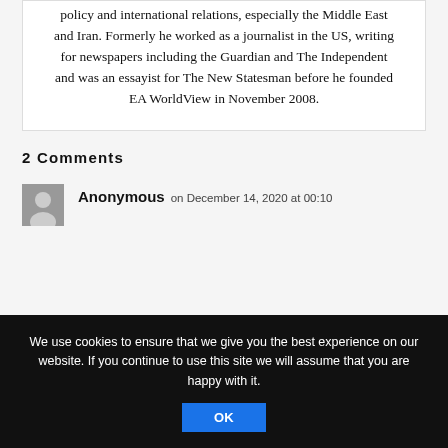policy and international relations, especially the Middle East and Iran. Formerly he worked as a journalist in the US, writing for newspapers including the Guardian and The Independent and was an essayist for The New Statesman before he founded EA WorldView in November 2008.
2 Comments
Anonymous on December 14, 2020 at 00:10
We use cookies to ensure that we give you the best experience on our website. If you continue to use this site we will assume that you are happy with it.